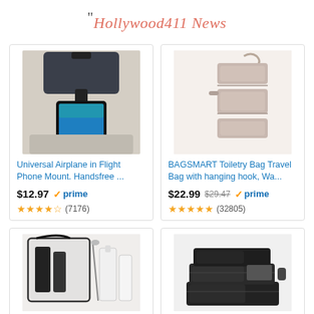" Hollywood411 News
[Figure (photo): Universal Airplane phone mount clipped to headrest with phone showing ocean/airplane content]
Universal Airplane in Flight Phone Mount. Handsfree ...
$12.97 prime
(7176)
[Figure (photo): BAGSMART hanging toiletry bag laid flat showing multiple compartments, pink/nude color]
BAGSMART Toiletry Bag Travel Bag with hanging hook, Wa...
$22.99 $29.47 prime
(32805)
[Figure (photo): Clear TSA travel toiletry bag with small bottles and accessories on white background]
[Figure (photo): Black packing cubes set stacked together for travel]